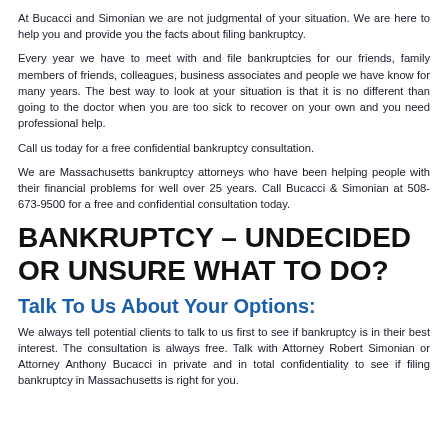At Bucacci and Simonian we are not judgmental of your situation. We are here to help you and provide you the facts about filing bankruptcy.
Every year we have to meet with and file bankruptcies for our friends, family members of friends, colleagues, business associates and people we have know for many years. The best way to look at your situation is that it is no different than going to the doctor when you are too sick to recover on your own and you need professional help.
Call us today for a free confidential bankruptcy consultation.
We are Massachusetts bankruptcy attorneys who have been helping people with their financial problems for well over 25 years. Call Bucacci & Simonian at 508-673-9500 for a free and confidential consultation today.
BANKRUPTCY – UNDECIDED OR UNSURE WHAT TO DO?
Talk To Us About Your Options:
We always tell potential clients to talk to us first to see if bankruptcy is in their best interest. The consultation is always free. Talk with Attorney Robert Simonian or Attorney Anthony Bucacci in private and in total confidentiality to see if filing bankruptcy in Massachusetts is right for you.